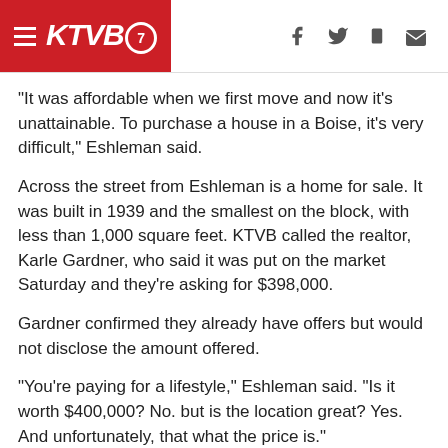KTVB7 [hamburger menu, facebook, twitter, mobile, email icons]
“It was affordable when we first move and now it’s unattainable. To purchase a house in a Boise, it’s very difficult,” Eshleman said.
Across the street from Eshleman is a home for sale. It was built in 1939 and the smallest on the block, with less than 1,000 square feet. KTVB called the realtor, Karle Gardner, who said it was put on the market Saturday and they’re asking for $398,000.
Gardner confirmed they already have offers but would not disclose the amount offered.
“You’re paying for a lifestyle,” Eshleman said. “Is it worth $400,000? No. but is the location great? Yes. And unfortunately, that what the price is.”
RELATED: San Francisco news reports 'Bay Area tech exodus' could target Boise next